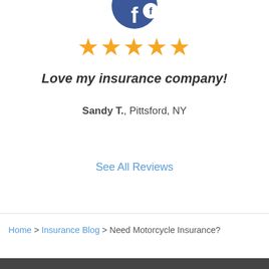[Figure (logo): Partial Facebook logo icon with dark blue circle background and white 'f' letter, partially cropped at top]
★★★★★
Love my insurance company!
Sandy T., Pittsford, NY
See All Reviews
Home > Insurance Blog > Need Motorcycle Insurance?